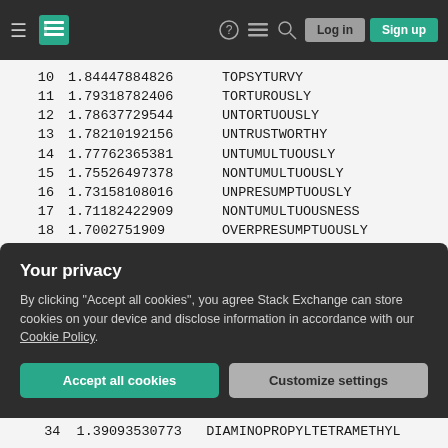Stack Exchange navigation bar with hamburger menu, logo, help, chat, search icons, Log in and Sign up buttons
| # | Value | Word |
| --- | --- | --- |
| 10 | 1.84447884826 | TOPSYTURVY |
| 11 | 1.79318782406 | TORTUROUSLY |
| 12 | 1.78637729544 | UNTORTUOUSLY |
| 13 | 1.78210192156 | UNTRUSTWORTHY |
| 14 | 1.77762365381 | UNTUMULTUOUSLY |
| 15 | 1.75526497378 | NONTUMULTUOUSLY |
| 16 | 1.73158108016 | UNPRESUMPTUOUSLY |
| 17 | 1.71182422909 | NONTUMULTUOUSNESS |
| 18 | 1.7002751909 | OVERPRESUMPTUOUSLY |
| 19 | 1.67396629859 | OVERSUPERSTITIOUSLY |
| 20 | 1.6688495362 | OVERPRESUMPTUOUSNESS |
| 21 | 1.64654271243 | OVERSUPERSTITIOUSNESS |
| 22 | 1.5654574758 | OTORHINOLARYNGOLOGISTS |
| 23 | 1.58471955554 | PSYCHONEUROIMMUNOLOGIST |
| 24 | 1.59477602418 | PSYCHONEUROIMMUNOLOGISTS |
Your privacy
By clicking "Accept all cookies", you agree Stack Exchange can store cookies on your device and disclose information in accordance with our Cookie Policy.
Accept all cookies   Customize settings
34  1.39093530773   DIAMINOPROPYLTETRAMETHYL